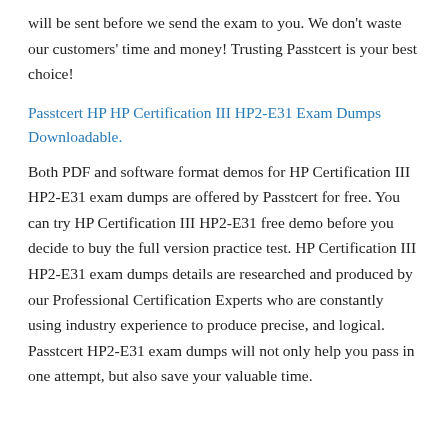will be sent before we send the exam to you. We don't waste our customers' time and money! Trusting Passtcert is your best choice!
Passtcert HP HP Certification III HP2-E31 Exam Dumps Downloadable.
Both PDF and software format demos for HP Certification III HP2-E31 exam dumps are offered by Passtcert for free. You can try HP Certification III HP2-E31 free demo before you decide to buy the full version practice test. HP Certification III HP2-E31 exam dumps details are researched and produced by our Professional Certification Experts who are constantly using industry experience to produce precise, and logical. Passtcert HP2-E31 exam dumps will not only help you pass in one attempt, but also save your valuable time.